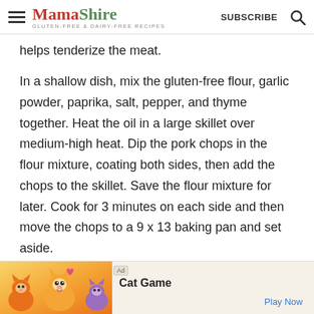MamaShire — GLUTEN-FREE & DAIRY-FREE RECIPES | SUBSCRIBE
helps tenderize the meat.
In a shallow dish, mix the gluten-free flour, garlic powder, paprika, salt, pepper, and thyme together. Heat the oil in a large skillet over medium-high heat. Dip the pork chops in the flour mixture, coating both sides, then add the chops to the skillet. Save the flour mixture for later. Cook for 3 minutes on each side and then move the chops to a 9 x 13 baking pan and set aside.
[Figure (screenshot): Advertisement banner for Cat Game app with illustrated cat characters and Play Now button]